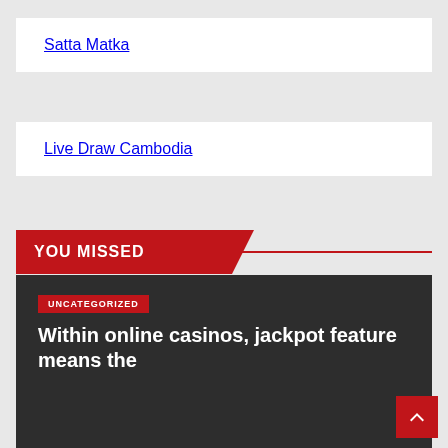Satta Matka
Live Draw Cambodia
YOU MISSED
UNCATEGORIZED
Within online casinos, jackpot feature means the